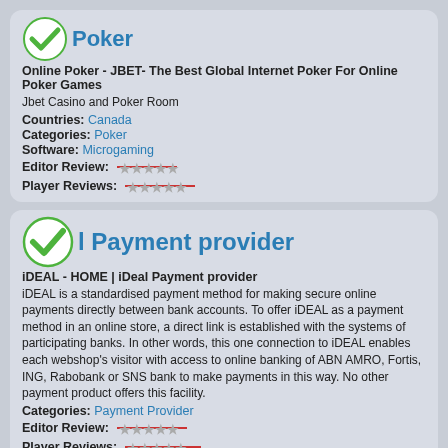Poker
Online Poker - JBET- The Best Global Internet Poker For Online Poker Games
Jbet Casino and Poker Room
Countries: Canada
Categories: Poker
Software: Microgaming
Editor Review: ★★★★★
Player Reviews: ★★★★★
iDeal Payment provider
iDEAL - HOME | iDeal Payment provider
iDEAL is a standardised payment method for making secure online payments directly between bank accounts. To offer iDEAL as a payment method in an online store, a direct link is established with the systems of participating banks. In other words, this one connection to iDEAL enables each webshop's visitor with access to online banking of ABN AMRO, Fortis, ING, Rabobank or SNS bank to make payments in this way. No other payment product offers this facility.
Categories: Payment Provider
Editor Review: ★★★★★
Player Reviews: ★★★★★